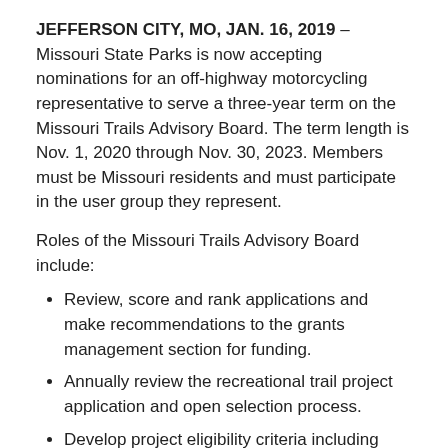JEFFERSON CITY, MO, JAN. 16, 2019 – Missouri State Parks is now accepting nominations for an off-highway motorcycling representative to serve a three-year term on the Missouri Trails Advisory Board. The term length is Nov. 1, 2020 through Nov. 30, 2023. Members must be Missouri residents and must participate in the user group they represent.
Roles of the Missouri Trails Advisory Board include:
Review, score and rank applications and make recommendations to the grants management section for funding.
Annually review the recreational trail project application and open selection process.
Develop project eligibility criteria including sponsor eligibility (what type of projects the state should consider for funding).